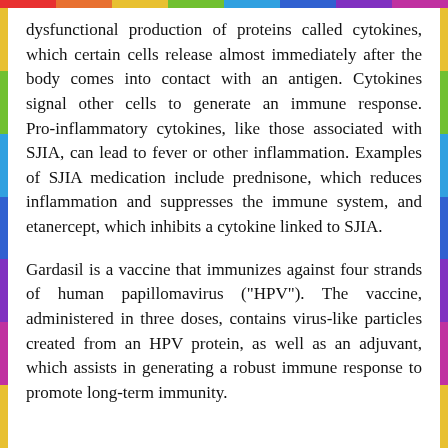dysfunctional production of proteins called cytokines, which certain cells release almost immediately after the body comes into contact with an antigen. Cytokines signal other cells to generate an immune response. Pro-inflammatory cytokines, like those associated with SJIA, can lead to fever or other inflammation. Examples of SJIA medication include prednisone, which reduces inflammation and suppresses the immune system, and etanercept, which inhibits a cytokine linked to SJIA.
Gardasil is a vaccine that immunizes against four strands of human papillomavirus ("HPV"). The vaccine, administered in three doses, contains virus-like particles created from an HPV protein, as well as an adjuvant, which assists in generating a robust immune response to promote long-term immunity.